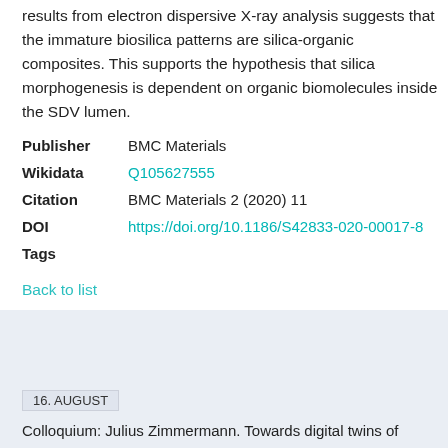results from electron dispersive X-ray analysis suggests that the immature biosilica patterns are silica-organic composites. This supports the hypothesis that silica morphogenesis is dependent on organic biomolecules inside the SDV lumen.
| Field | Value |
| --- | --- |
| Publisher | BMC Materials |
| Wikidata | Q105627555 |
| Citation | BMC Materials 2 (2020) 11 |
| DOI | https://doi.org/10.1186/S42833-020-00017-8 |
| Tags |  |
Back to list
16. AUGUST
Colloquium: Julius Zimmermann. Towards digital twins of